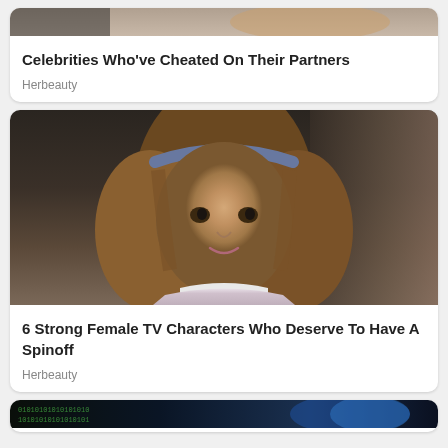[Figure (photo): Partial view of celebrities photo at top of first card]
Celebrities Who've Cheated On Their Partners
Herbeauty
[Figure (photo): Young girl with brown shoulder-length hair and blue headband wearing a light pink top with white collar, looking upward, blurred background]
6 Strong Female TV Characters Who Deserve To Have A Spinoff
Herbeauty
[Figure (photo): Partial view of third card showing binary code and blue glowing figure]